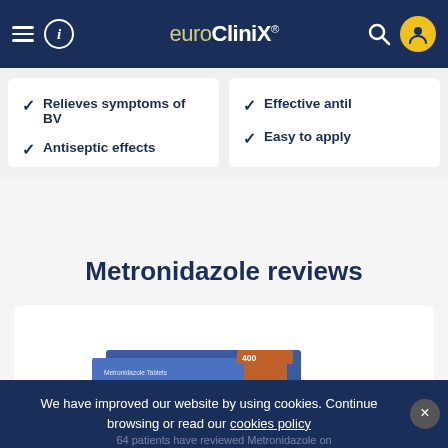euroClinix
Relieves symptoms of BV
Antiseptic effects
Effective antil
Easy to apply
Metronidazole reviews
[Figure (photo): Box of Metronidazole Tablets 400mg]
Start Consultation →
We have improved our website by using cookies. Continue browsing or read our cookies policy
64 patients have reviewed Metronidazole on